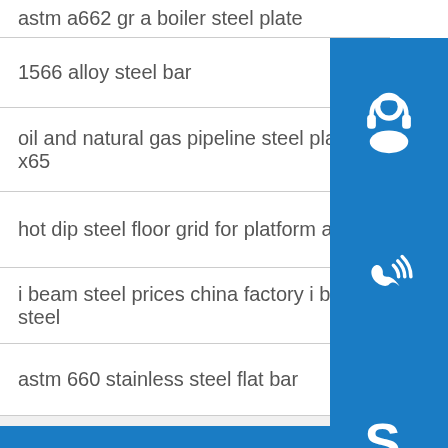astm a662 gr a boiler steel plate
1566 alloy steel bar
oil and natural gas pipeline steel plate x65
hot dip steel floor grid for platform and trench co
i beam steel prices china factory i beam steel
astm 660 stainless steel flat bar
S275J0 Carbon Steel
321 stainless tube pipe with film
pvc coated welded coil mesh from factory